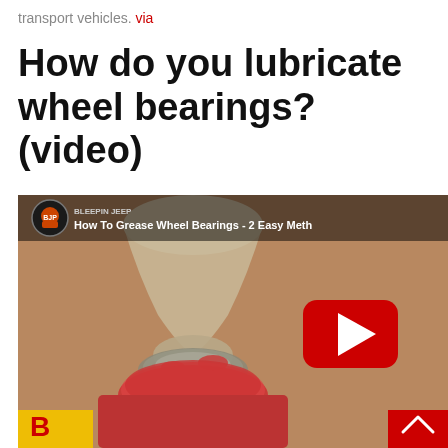transport vehicles. via
How do you lubricate wheel bearings? (video)
[Figure (screenshot): YouTube video thumbnail showing wheel bearing being greased. Title bar reads 'How To Grease Wheel Bearings - 2 Easy Meth'. Channel logo for BleedInJeep visible top left. Large YouTube play button in center. Vertical text overlay reading 'Two Options' on the right side. Red scroll-up button bottom right. Yellow channel branding bottom left.]